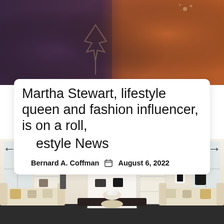[Figure (photo): Close-up photo of two people wearing dark purple and orange/rust colored clothing, with decorative details visible on the garments including what appears to be a maple leaf embroidery.]
Martha Stewart, lifestyle queen and fashion influencer, is on a roll, estyle News
Bernard A. Coffman   August 6, 2022
[Figure (photo): Interior of an upscale fashion boutique showing cream sofas with decorative pillows, clothing racks with black garments, white shelving units displaying handbags and accessories, mannequins dressed in black and white outfits, a floral centerpiece on a dark coffee table, and bright windows in the background.]